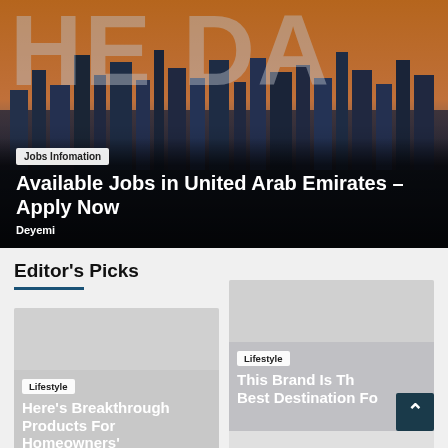[Figure (photo): Aerial cityscape of Dubai/UAE at sunset/dusk with large watermark text 'HE DA' overlaid]
Jobs Infomation
Available Jobs in United Arab Emirates – Apply Now
Deyemi
Editor's Picks
[Figure (photo): Card with light grey background, Lifestyle category badge, headline: Here's Breakthrough Products For Homeowners']
Lifestyle
Here's Breakthrough Products For Homeowners'
[Figure (photo): Card with light grey background, Lifestyle category badge, headline: This Brand Is The Best Destination Fo...]
Lifestyle
This Brand Is The Best Destination Fo...